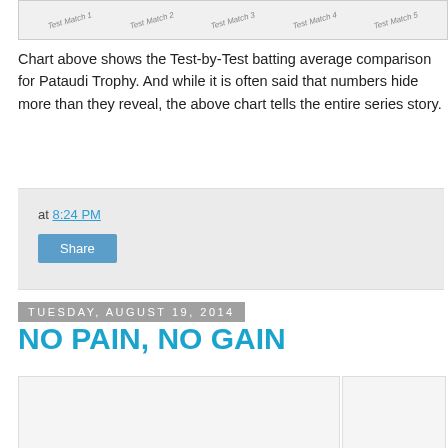[Figure (other): Top portion of a chart showing Test-by-Test batting average comparison, partially visible with column labels]
Chart above shows the Test-by-Test batting average comparison for Pataudi Trophy. And while it is often said that numbers hide more than they reveal, the above chart tells the entire series story.
at 8:24 PM
Share
Tuesday, August 19, 2014
NO PAIN, NO GAIN
[Figure (photo): Partial image visible at bottom left of page]
[Figure (photo): Partial image visible at bottom right of page]